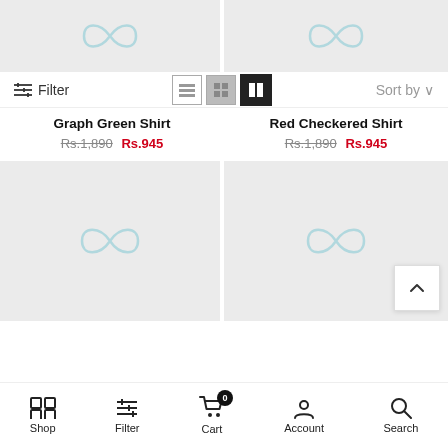[Figure (screenshot): Top partial product images with placeholder logos (two columns)]
Filter
[Figure (screenshot): View toggle icons: list, grid-small, grid-two-column (active)]
Sort by
Graph Green Shirt Rs.1,890 Rs.945
Red Checkered Shirt Rs.1,890 Rs.945
[Figure (screenshot): Two placeholder product images with infinity logo watermarks]
[Figure (screenshot): Back to top button]
Shop  Filter  Cart 0  Account  Search